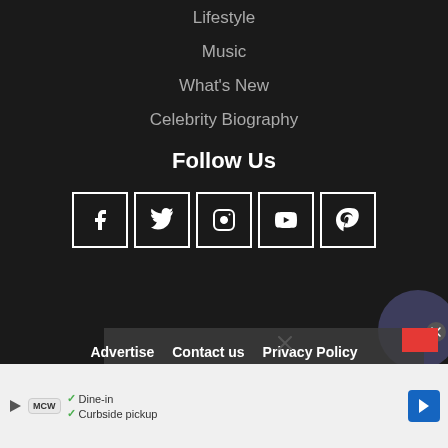Lifestyle
Music
What's New
Celebrity Biography
Follow Us
[Figure (infographic): Row of 5 social media icon boxes: Facebook, Twitter, Instagram, YouTube, Pinterest]
[Figure (screenshot): Video player overlay showing 'No compatible source was found for this media.']
Advertise   Contact us   Privacy Policy
[Figure (infographic): Advertisement bar with McW logo, Dine-in and Curbside pickup checkmarks, and a navigation arrow icon]